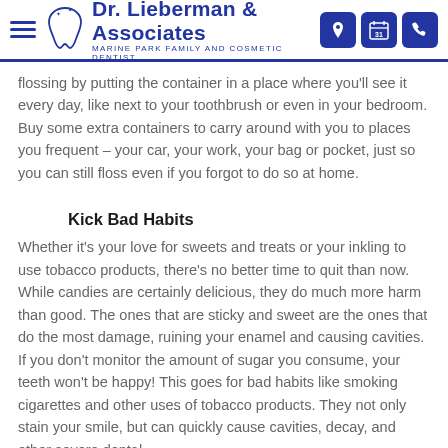Dr. Lieberman & Associates | MARINE PARK FAMILY AND COSMETIC DENTIST
flossing by putting the container in a place where you'll see it every day, like next to your toothbrush or even in your bedroom. Buy some extra containers to carry around with you to places you frequent – your car, your work, your bag or pocket, just so you can still floss even if you forgot to do so at home.
Kick Bad Habits
Whether it's your love for sweets and treats or your inkling to use tobacco products, there's no better time to quit than now. While candies are certainly delicious, they do much more harm than good. The ones that are sticky and sweet are the ones that do the most damage, ruining your enamel and causing cavities. If you don't monitor the amount of sugar you consume, your teeth won't be happy! This goes for bad habits like smoking cigarettes and other uses of tobacco products. They not only stain your smile, but can quickly cause cavities, decay, and other severe dental